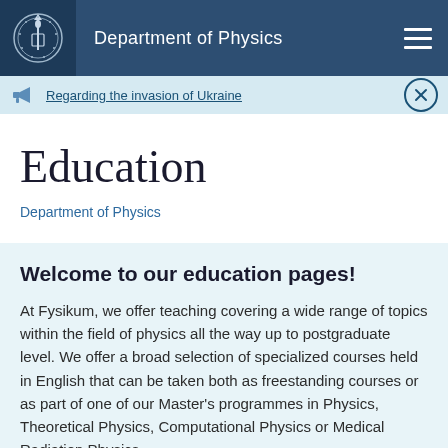Department of Physics
Regarding the invasion of Ukraine
Education
Department of Physics
Welcome to our education pages!
At Fysikum, we offer teaching covering a wide range of topics within the field of physics all the way up to postgraduate level. We offer a broad selection of specialized courses held in English that can be taken both as freestanding courses or as part of one of our Master's programmes in Physics, Theoretical Physics, Computational Physics or Medical Radiation Physics.